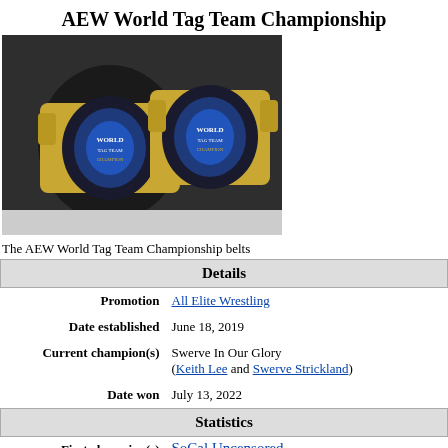AEW World Tag Team Championship
[Figure (photo): Two AEW World Tag Team Championship belts on a gray surface with dark background. The belts are gold and blue.]
The AEW World Tag Team Championship belts
|  | Details |
| --- | --- |
| Promotion | All Elite Wrestling |
| Date established | June 18, 2019 |
| Current champion(s) | Swerve In Our Glory (Keith Lee and Swerve Strickland) |
| Date won | July 13, 2022 |
|  | Statistics |
| First champion(s) | SoCal Uncensored (Frankie Kazarian and Scorpio Sky)
As tag team (2 reigns):
• The Young Bucks
(Matt Jackson and Nick Jackson) |